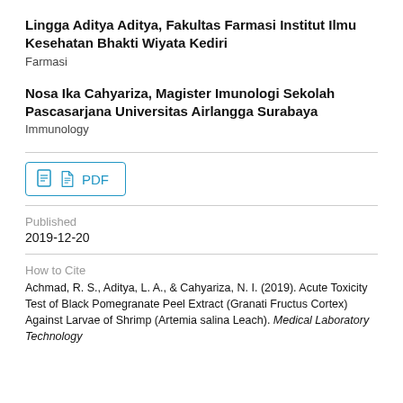Lingga Aditya Aditya, Fakultas Farmasi Institut Ilmu Kesehatan Bhakti Wiyata Kediri
Farmasi
Nosa Ika Cahyariza, Magister Imunologi Sekolah Pascasarjana Universitas Airlangga Surabaya
Immunology
PDF
Published
2019-12-20
How to Cite
Achmad, R. S., Aditya, L. A., & Cahyariza, N. I. (2019). Acute Toxicity Test of Black Pomegranate Peel Extract (Granati Fructus Cortex) Against Larvae of Shrimp (Artemia salina Leach). Medical Laboratory Technology